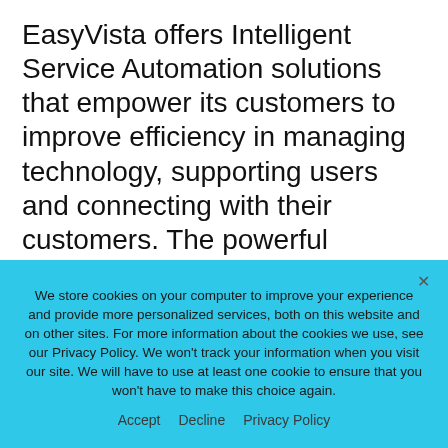EasyVista offers Intelligent Service Automation solutions that empower its customers to improve efficiency in managing technology, supporting users and connecting with their customers. The powerful combination of our proven ITSM and Intelligent Knowledge Management Platforms enable organizations to improve the efficiency of delivering technology solutions across the enterprise, better engaging employees with best-in-class
We store cookies on your computer to improve your experience and provide more personalized services, both on this website and on other sites. For more information about the cookies we use, see our Privacy Policy. We won't track your information when you visit our site. We will have to use at least one cookie to ensure that you won't have to make this choice again.
Accept   Decline   Privacy Policy